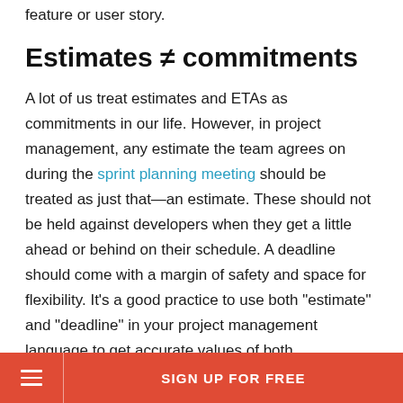feature or user story.
Estimates ≠ commitments
A lot of us treat estimates and ETAs as commitments in our life. However, in project management, any estimate the team agrees on during the sprint planning meeting should be treated as just that—an estimate. These should not be held against developers when they get a little ahead or behind on their schedule. A deadline should come with a margin of safety and space for flexibility. It's a good practice to use both "estimate" and "deadline" in your project management language to get accurate values of both.
Overtime can quickly become overkill
SIGN UP FOR FREE